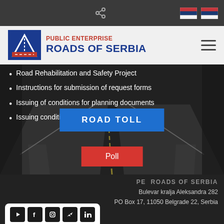Public Enterprise Roads of Serbia – website header with navigation
Road Rehabilitation and Safety Project
Instructions for submission of request forms
Issuing of conditions for planning documents
Issuing conditions in the integrated procedure
ROAD TOLL
Poll
PE  ROADS OF SERBIA
Bulevar kralja Aleksandra 282
PO Box 17, 11050 Belgrade 22, Serbia